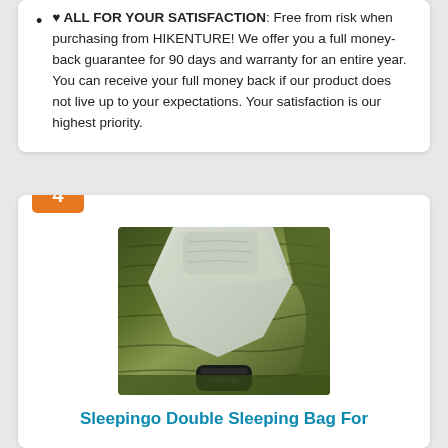♥ ALL FOR YOUR SATISFACTION: Free from risk when purchasing from HIKENTURE! We offer you a full money-back guarantee for 90 days and warranty for an entire year. You can receive your full money back if our product does not live up to your expectations. Your satisfaction is our highest priority.
4
[Figure (photo): Overhead view of an olive green double sleeping bag opened up showing grey interior lining and a small pillow, with a black stuff sack at the bottom.]
Sleepingo Double Sleeping Bag For